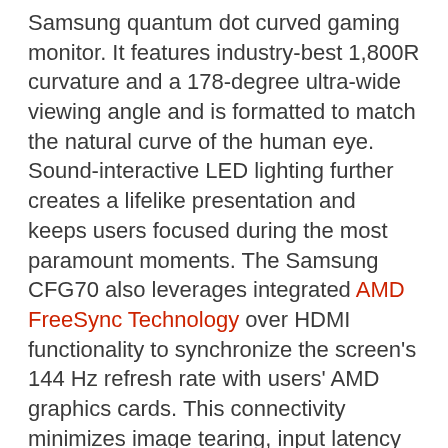Samsung quantum dot curved gaming monitor. It features industry-best 1,800R curvature and a 178-degree ultra-wide viewing angle and is formatted to match the natural curve of the human eye. Sound-interactive LED lighting further creates a lifelike presentation and keeps users focused during the most paramount moments. The Samsung CFG70 also leverages integrated AMD FreeSync Technology over HDMI functionality to synchronize the screen's 144 Hz refresh rate with users' AMD graphics cards. This connectivity minimizes image tearing, input latency and stutter that can disrupt gameplay and escalate visual fatigue.